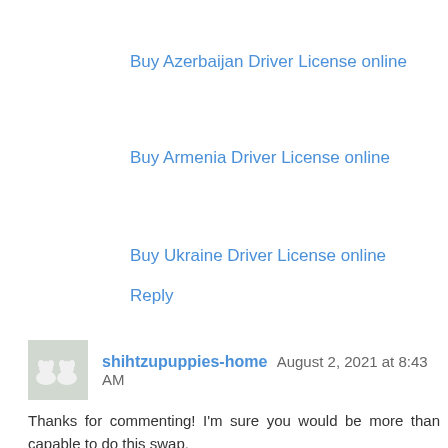Buy Azerbaijan Driver License online
Buy Armenia Driver License online
Buy Ukraine Driver License online
Reply
shihtzupuppies-home August 2, 2021 at 8:43 AM
Thanks for commenting! I'm sure you would be more than capable to do this swap.
It's a swap where you can be as creative as you want, or just do something simple, and I am expecting more Good content writing from you. I have also something to share here.